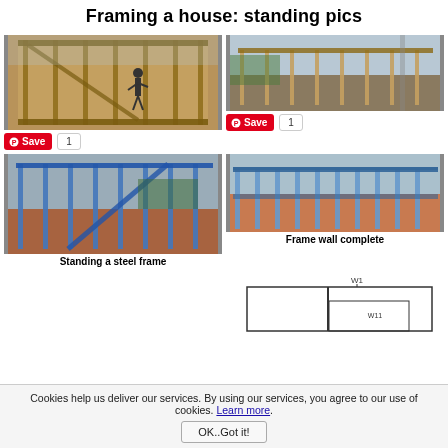Framing a house: standing pics
[Figure (photo): Person standing inside wooden house frame structure under construction]
[Figure (photo): Wooden house frame standing completed, outdoor construction site]
[Figure (photo): Blue steel frame being stood up at construction site]
Standing a steel frame
[Figure (photo): Completed steel frame wall around perimeter of house]
Frame wall complete
[Figure (engineering-diagram): Engineering diagram showing wall framing plan with labels W1 and W11]
Cookies help us deliver our services. By using our services, you agree to our use of cookies. Learn more.
OK..Got it!